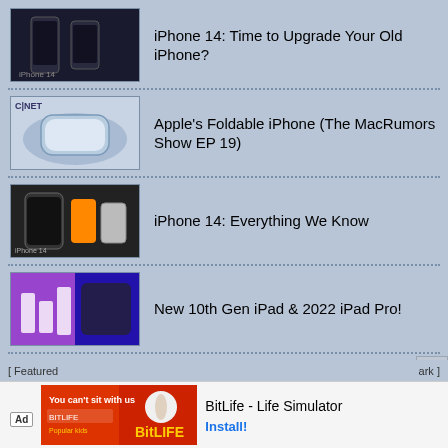iPhone 14: Time to Upgrade Your Old iPhone?
Apple's Foldable iPhone (The MacRumors Show EP 19)
iPhone 14: Everything We Know
New 10th Gen iPad & 2022 iPad Pro!
Samsung Odyssey Ark - Insane 55" 4K mini-LED Monitor
Copyright © 2000-2022 MacRumors.com, LLC.
Privacy / DMCA contact / Affiliate and FTC Disclosure
Accessibility Statement
[Figure (screenshot): Ad banner: BitLife - Life Simulator game ad with Install button]